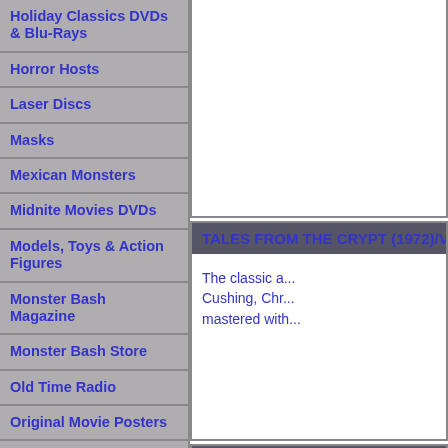Holiday Classics DVDs & Blu-Rays
Horror Hosts
Laser Discs
Masks
Mexican Monsters
Midnite Movies DVDs
Models, Toys & Action Figures
Monster Bash Magazine
Monster Bash Store
Old Time Radio
Original Movie Posters
Poster & Lobby Card Reproductions
Preview Trailer DVD
TALES FROM THE CRYPT (1972)/VAU
The classic a... Cushing, Chr... mastered with...
TALES OF THE UNCANNY (2020 Docu
A full length d... time. From th... and much mo... UNUSUAL...